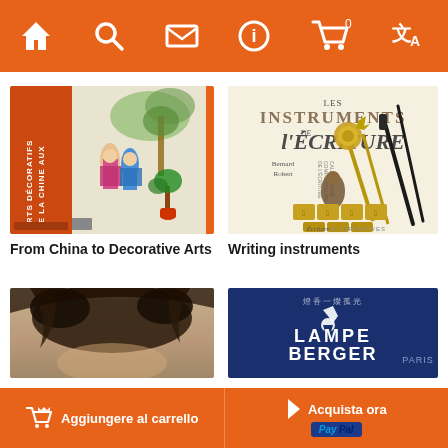Navigation bar with home, search, mail, info, cart (0), translate icons
[Figure (photo): Book cover: De la Chine aux Arts Décoratifs - red spine with illustrated Chinese scene]
From China to Decorative Arts
[Figure (photo): Book cover: Les Instruments de l'Écriture by Bernard Robert - cream cover with writing instruments]
Writing instruments
[Figure (photo): Partial book cover - portrait with hair visible]
[Figure (photo): Partial book cover - Lampe Berger Paris on dark blue background]
Aggiungere al carrello   Acquista ora PayPal